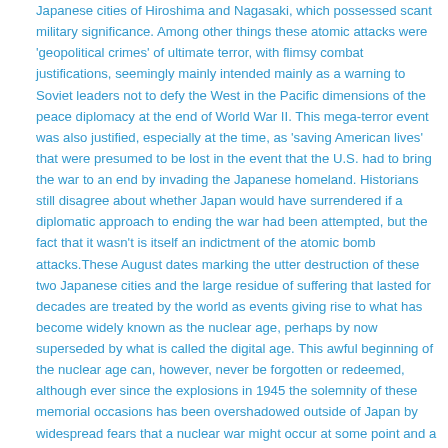Japanese cities of Hiroshima and Nagasaki, which possessed scant military significance. Among other things these atomic attacks were 'geopolitical crimes' of ultimate terror, with flimsy combat justifications, seemingly mainly intended mainly as a warning to Soviet leaders not to defy the West in the Pacific dimensions of the peace diplomacy at the end of World War II. This mega-terror event was also justified, especially at the time, as 'saving American lives' that were presumed to be lost in the event that the U.S. had to bring the war to an end by invading the Japanese homeland. Historians still disagree about whether Japan would have surrendered if a diplomatic approach to ending the war had been attempted, but the fact that it wasn't is itself an indictment of the atomic bomb attacks.These August dates marking the utter destruction of these two Japanese cities and the large residue of suffering that lasted for decades are treated by the world as events giving rise to what has become widely known as the nuclear age, perhaps by now superseded by what is called the digital age. This awful beginning of the nuclear age can, however, never be forgotten or redeemed, although ever since the explosions in 1945 the solemnity of these memorial occasions has been overshadowed outside of Japan by widespread fears that a nuclear war might occur at some point and a quiet rage